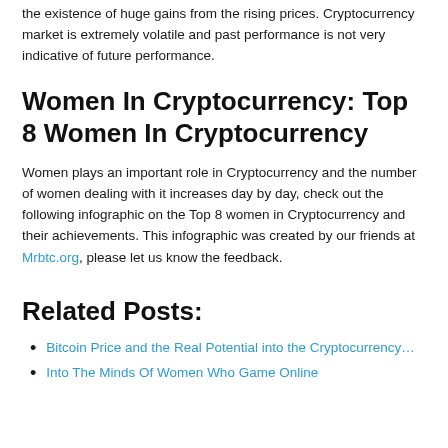the existence of huge gains from the rising prices. Cryptocurrency market is extremely volatile and past performance is not very indicative of future performance.
Women In Cryptocurrency: Top 8 Women In Cryptocurrency
Women plays an important role in Cryptocurrency and the number of women dealing with it increases day by day, check out the following infographic on the Top 8 women in Cryptocurrency and their achievements. This infographic was created by our friends at Mrbtc.org, please let us know the feedback.
Related Posts:
Bitcoin Price and the Real Potential into the Cryptocurrency…
Into The Minds Of Women Who Game Online